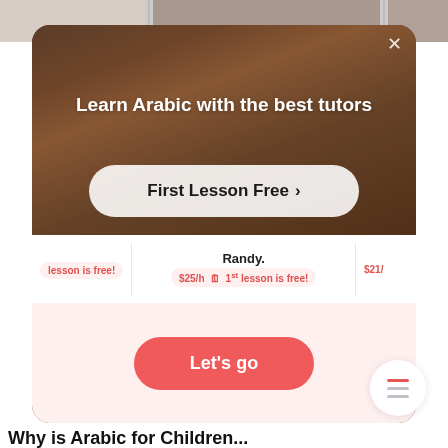[Figure (screenshot): Screenshot of a language tutoring website showing a promotional modal overlay with video background of a tutor. The modal reads 'Learn Arabic with the best tutors' with a 'First Lesson Free >' button. Below the modal are tutor cards showing prices like '$25/h' and '$21/h' with '1st lesson is free!' tags. A pink section shows a 'Let's go' CTA button. A hamburger menu icon is visible in the bottom right. Partially visible section header at the bottom reads 'Why is Arabic for Children...']
Learn Arabic with the best tutors
First Lesson Free >
$25/h 🗓 1st lesson is free!
$21/
lesson is free!
Let's go